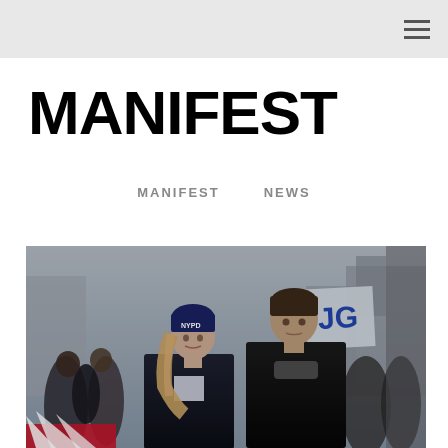MANIFEST
MANIFEST    NEWS
[Figure (photo): Two actors from the TV show Manifest standing in a crowd. A woman wearing an NYPD beanie hat and dark coat, and a man in a dark jacket with a scarf. Behind them is a crowd of protesters with signs.]